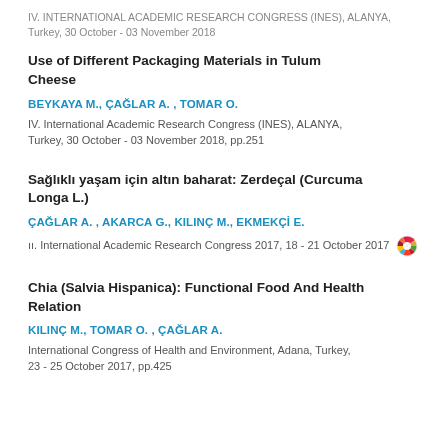IV. INTERNATIONAL ACADEMIC RESEARCH CONGRESS (INES), ALANYA, Turkey, 30 October - 03 November 2018
Use of Different Packaging Materials in Tulum Cheese
BEYKAYA M., ÇAĞLAR A. , TOMAR O.
IV. International Academic Research Congress (INES), ALANYA, Turkey, 30 October - 03 November 2018, pp.251
Sağlıklı yaşam için altın baharat: Zerdeçal (Curcuma Longa L.)
ÇAĞLAR A. , AKARCA G., KILINÇ M., EKMEKÇİ E.
ıı. International Academic Research Congress 2017, 18 - 21 October 2017
Chia (Salvia Hispanica): Functional Food And Health Relation
KILINÇ M., TOMAR O. , ÇAĞLAR A.
International Congress of Health and Environment, Adana, Turkey, 23 - 25 October 2017, pp.425